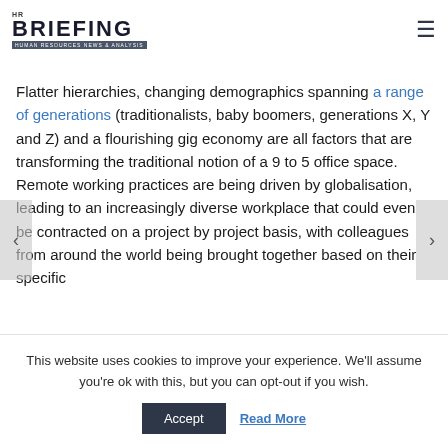HR BRIEFING — HUMAN RESOURCES NEWS & ANALYSIS
Flatter hierarchies, changing demographics spanning a range of generations (traditionalists, baby boomers, generations X, Y and Z) and a flourishing gig economy are all factors that are transforming the traditional notion of a 9 to 5 office space. Remote working practices are being driven by globalisation, leading to an increasingly diverse workplace that could even be contracted on a project by project basis, with colleagues from around the world being brought together based on their specific
This website uses cookies to improve your experience. We'll assume you're ok with this, but you can opt-out if you wish.